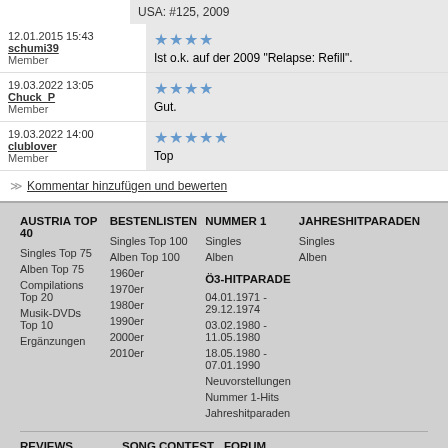USA: #125, 2009
12.01.2015 15:43
schumi39
Member
★★★★ Ist o.k. auf der 2009 "Relapse: Refill".
19.03.2022 13:05
Chuck_P
Member
★★★★ Gut.
19.03.2022 14:00
clublover
Member
★★★★★ Top
Kommentar hinzufügen und bewerten
AUSTRIA TOP 40
BESTENLISTEN
NUMMER 1
JAHRESHITPARADEN
Singles Top 75
Alben Top 75
Compilations Top 20
Musik-DVDs Top 10
Ergänzungen
Singles Top 100
Alben Top 100
1960er
1970er
1980er
1990er
2000er
2010er
Singles
Alben
Singles
Alben
Ö3-HITPARADE
04.01.1971 - 29.12.1974
03.02.1980 - 11.05.1980
18.05.1980 - 07.01.1990
Neuvorstellungen
Nummer 1-Hits
Jahreshitparaden
REVIEWS
SONG CONTEST
FORUM
Songs
Übersicht